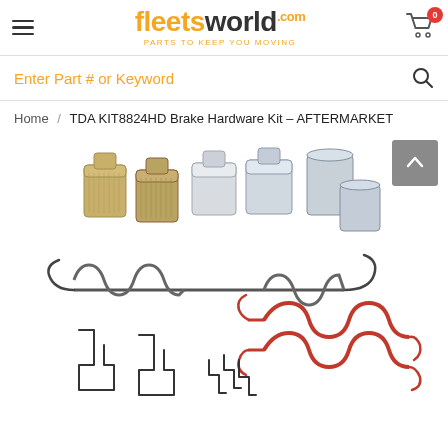fleetsworld.com — PARTS TO KEEP YOU MOVING
Enter Part # or Keyword
Home / TDA KIT8824HD Brake Hardware Kit – AFTERMARKET
[Figure (photo): Product photo of TDA KIT8824HD Brake Hardware Kit showing various brake hardware components including cylindrical pistons (gold and silver), coil springs (grey and red/orange), wire clips, and small metal brackets arranged on a white background.]